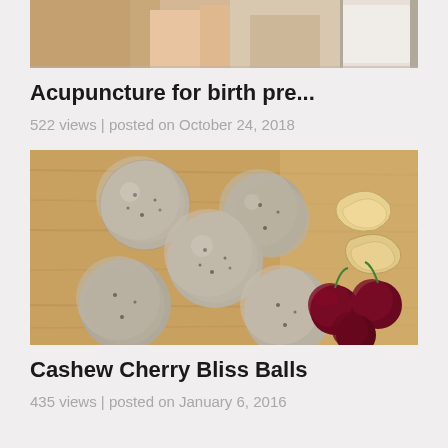[Figure (photo): Cropped top portion of an image showing legs/lower body near a mirror, partially visible]
Acupuncture for birth pre...
522 views | posted on October 24, 2018
[Figure (photo): Five coconut-dusted cashew cherry bliss balls arranged on a wooden board with cashew nuts and dark cherries]
Cashew Cherry Bliss Balls
435 views | posted on January 6, 2016